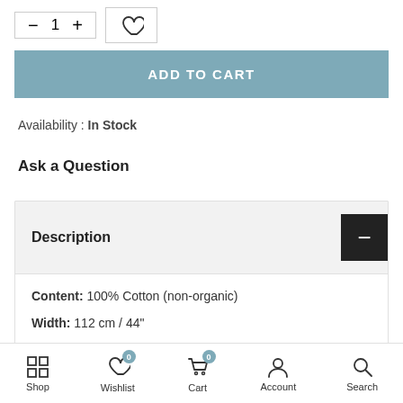[Figure (other): Quantity selector with minus, 1, plus buttons and heart/wishlist icon button]
[Figure (other): ADD TO CART button in teal/blue color]
Availability : In Stock
Ask a Question
Description
Content: 100% Cotton (non-organic)
Width: 112 cm / 44"
Shop  Wishlist 0  Cart 0  Account  Search